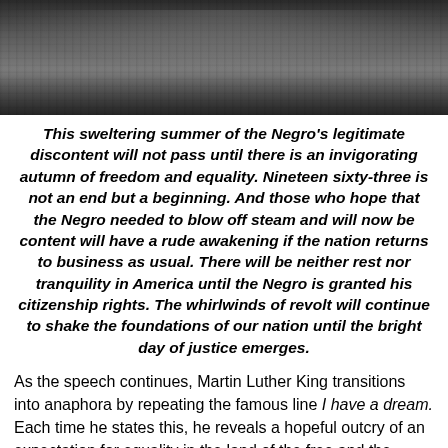[Figure (photo): Black and white photograph of a large crowd of people, likely at the March on Washington, viewed from above showing stadium-like seating and gathered masses.]
This sweltering summer of the Negro's legitimate discontent will not pass until there is an invigorating autumn of freedom and equality. Nineteen sixty-three is not an end but a beginning. And those who hope that the Negro needed to blow off steam and will now be content will have a rude awakening if the nation returns to business as usual. There will be neither rest nor tranquility in America until the Negro is granted his citizenship rights. The whirlwinds of revolt will continue to shake the foundations of our nation until the bright day of justice emerges.
As the speech continues, Martin Luther King transitions into anaphora by repeating the famous line I have a dream. Each time he states this, he reveals a hopeful outcry of an expectation for equality in the land of the free and the home of the brave for men and women of color.